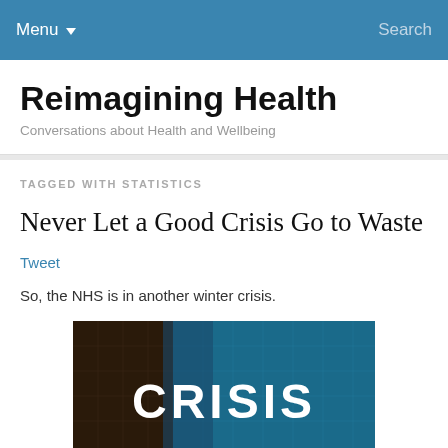Menu  Search
Reimagining Health
Conversations about Health and Wellbeing
TAGGED WITH STATISTICS
Never Let a Good Crisis Go to Waste
Tweet
So, the NHS is in another winter crisis.
[Figure (photo): Dark image with the word CRISIS displayed in large bold white futuristic text on a blue technological background]